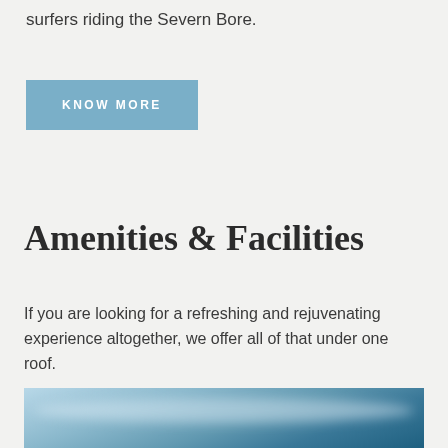surfers riding the Severn Bore.
KNOW MORE
Amenities & Facilities
If you are looking for a refreshing and rejuvenating experience altogether, we offer all of that under one roof.
[Figure (photo): Interior photo showing a blue and grey ceiling or room with lighting fixtures visible]